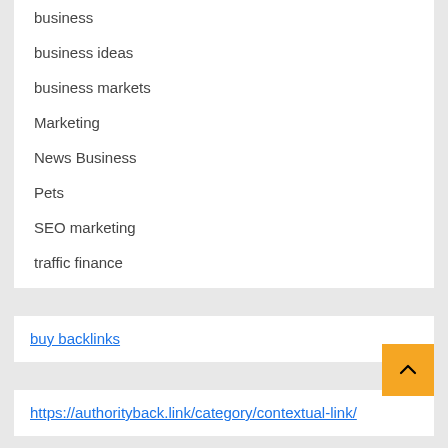business
business ideas
business markets
Marketing
News Business
Pets
SEO marketing
traffic finance
buy backlinks
https://authorityback.link/category/contextual-link/